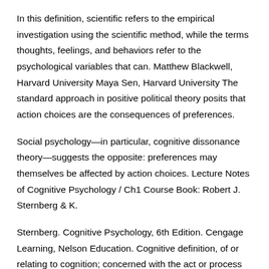In this definition, scientific refers to the empirical investigation using the scientific method, while the terms thoughts, feelings, and behaviors refer to the psychological variables that can. Matthew Blackwell, Harvard University Maya Sen, Harvard University The standard approach in positive political theory posits that action choices are the consequences of preferences.
Social psychology—in particular, cognitive dissonance theory—suggests the opposite: preferences may themselves be affected by action choices. Lecture Notes of Cognitive Psychology / Ch1 Course Book: Robert J. Sternberg & K.
Sternberg. Cognitive Psychology, 6th Edition. Cengage Learning, Nelson Education. Cognitive definition, of or relating to cognition; concerned with the act or process of knowing, perceiving, etc.: cognitive development; cognitive functioning.
See more. In I self-published a book I had been working on for a decade: 'Common Sense - The Philosophy of Psychology'. I believed at the time this was a definition of mind, as opposed to brain, and I